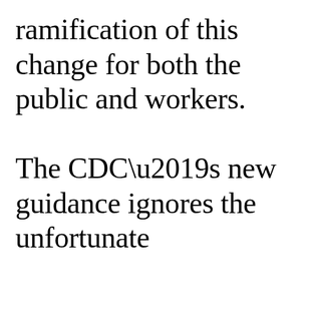ramification of this change for both the public and workers. The CDC’s new guidance ignores the unfortunate